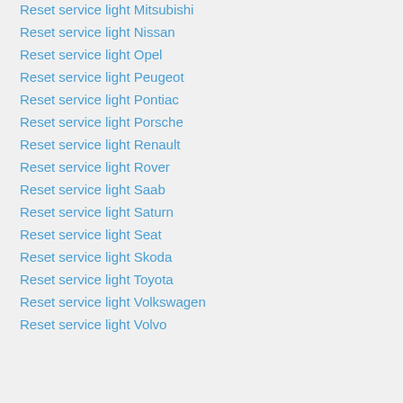Reset service light Mitsubishi
Reset service light Nissan
Reset service light Opel
Reset service light Peugeot
Reset service light Pontiac
Reset service light Porsche
Reset service light Renault
Reset service light Rover
Reset service light Saab
Reset service light Saturn
Reset service light Seat
Reset service light Skoda
Reset service light Toyota
Reset service light Volkswagen
Reset service light Volvo